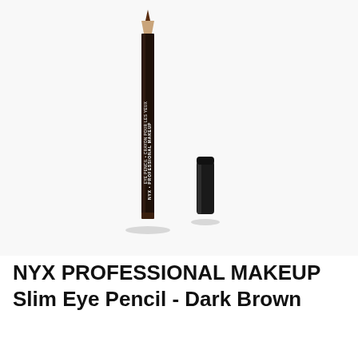[Figure (photo): NYX Professional Makeup Slim Eye Pencil in Dark Brown. A long dark brown/black eyeliner pencil with brown wooden tip shown vertically alongside its separated black cylindrical cap, on a light grey/white background.]
NYX PROFESSIONAL MAKEUP Slim Eye Pencil - Dark Brown